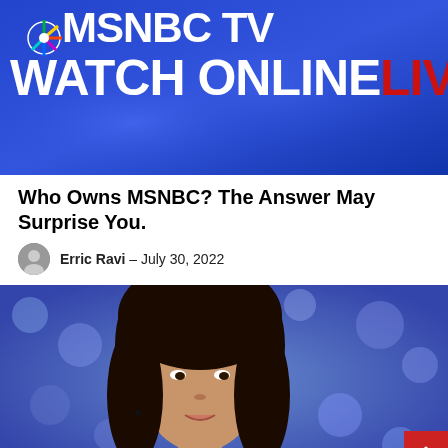[Figure (screenshot): MSNBC TV Watch Online Live banner — blue background with NBC peacock logo and white text 'MSNBC TV' and 'WATCH ONLINE' plus red 'LIVE' text]
Who Owns MSNBC? The Answer May Surprise You.
Erric Ravi - July 30, 2022
[Figure (photo): Portrait photo of a woman with dark hair against a blue bokeh background with white dots (likely American flag)]